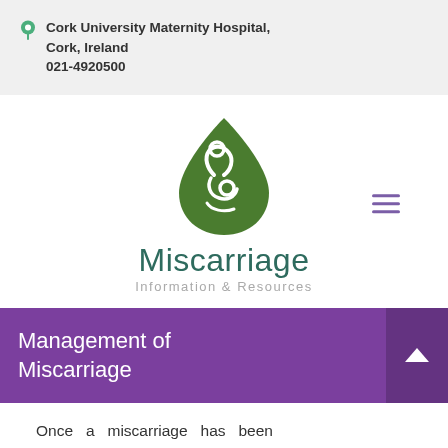Cork University Maternity Hospital, Cork, Ireland
021-4920500
[Figure (logo): Green teardrop-shaped logo with white mother and child silhouette inside, with text 'Miscarriage Information & Resources' below]
Management of Miscarriage
Once a miscarriage has been